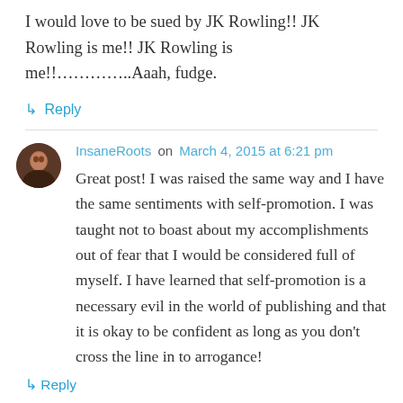I would love to be sued by JK Rowling!! JK Rowling is me!! JK Rowling is me!!…………..Aaah, fudge.
↳ Reply
InsaneRoots on March 4, 2015 at 6:21 pm
Great post! I was raised the same way and I have the same sentiments with self-promotion. I was taught not to boast about my accomplishments out of fear that I would be considered full of myself. I have learned that self-promotion is a necessary evil in the world of publishing and that it is okay to be confident as long as you don't cross the line in to arrogance!
↳ Reply